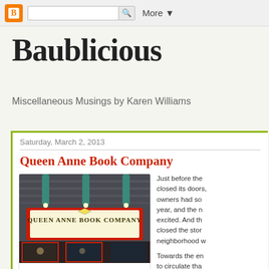Blogger navigation bar with search and More button
Baublicious
Miscellaneous Musings by Karen Williams
Saturday, March 2, 2013
Queen Anne Book Company
[Figure (photo): Exterior storefront sign of Queen Anne Book Company, showing illuminated sign with gold lettering on red background, with teal/green architectural elements above]
Just before the closed its doors, owners had so year, and the n excited. And th closed the stor neighborhood w
Towards the en to circulate tha the old booksto